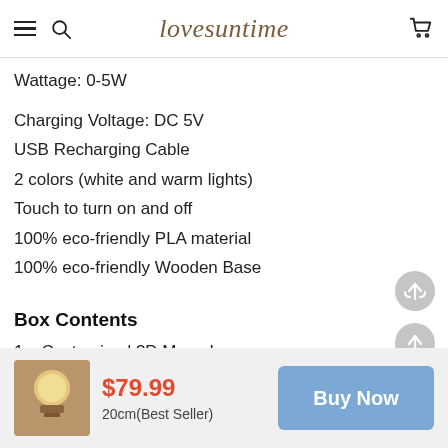lovesuntime
Wattage: 0-5W
Charging Voltage: DC 5V
USB Recharging Cable
2 colors (white and warm lights)
Touch to turn on and off
100% eco-friendly PLA material
100% eco-friendly Wooden Base
Box Contents
1 x Customized 3D Moon Lamp
1 x Micro USB Charging Cable
1 x Wooden Base
$79.99
20cm(Best Seller)
Buy Now